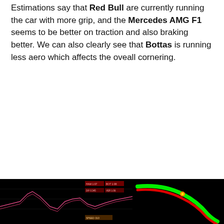Estimations say that Red Bull are currently running the car with more grip, and the Mercedes AMG F1 seems to be better on traction and also braking better. We can also clearly see that Bottas is running less aero which affects the oveall cornering.
[Figure (screenshot): Telemetry chart on black background showing pink/red line traces with colored label boxes, representing F1 car data channels over a lap.]
[Figure (screenshot): F1 track map on black background showing green and red racing lines converging at a corner, with an orange/yellow dot at the apex.]